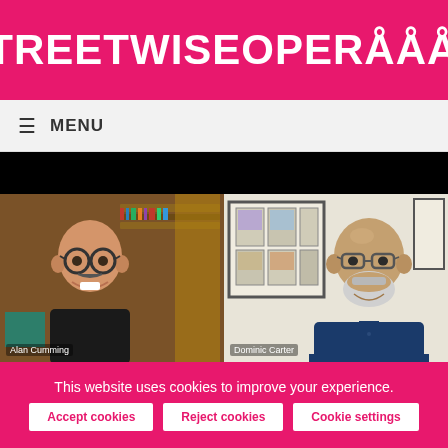[Figure (logo): Streetwise Opera logo in white text on pink/magenta background. Text reads STREETWISEOPERÅÅÅÅ with ring accent letters.]
≡  MENU
[Figure (screenshot): Video call screenshot showing two people: Alan Cumming on the left (wearing glasses, black shirt, in front of bookshelves) and Dominic Carter on the right (bald with glasses, dark blue shirt, in front of framed artwork). Black letterbox bars top and bottom.]
This website uses cookies to improve your experience.
Accept cookies
Reject cookies
Cookie settings